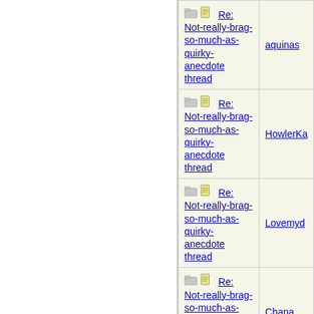| Thread | Author |
| --- | --- |
| Re: Not-really-brag-so-much-as-quirky-anecdote thread | aquinas |
| Re: Not-really-brag-so-much-as-quirky-anecdote thread | HowlerKa |
| Re: Not-really-brag-so-much-as-quirky-anecdote thread | Lovemyd |
| Re: Not-really-brag-so-much-as-quirky-anecdote thread | Chana |
| Re: Not-really-brag-so-much-as-quirky-anecdote thread | Dude |
| Re: Not-really-brag-so-much-as-quirky-anecdote thread | Lovemyd |
| Re: Not-really-brag-so-much-as-quirky-anecdote thread |  |